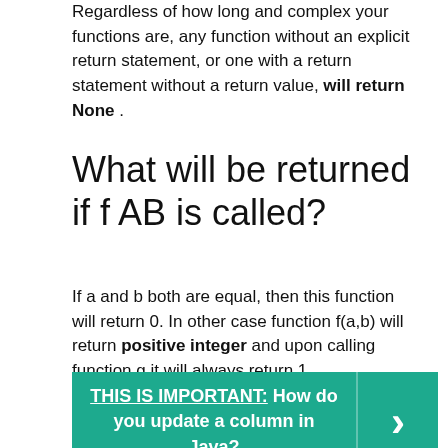Regardless of how long and complex your functions are, any function without an explicit return statement, or one with a return statement without a return value, will return None .
What will be returned if f AB is called?
If a and b both are equal, then this function will return 0. In other case function f(a,b) will return positive integer and upon calling function g it will always return 1.
[Figure (infographic): Teal banner with bold white text: THIS IS IMPORTANT: How do you update a column in Java? with a right-arrow chevron button on the right side.]